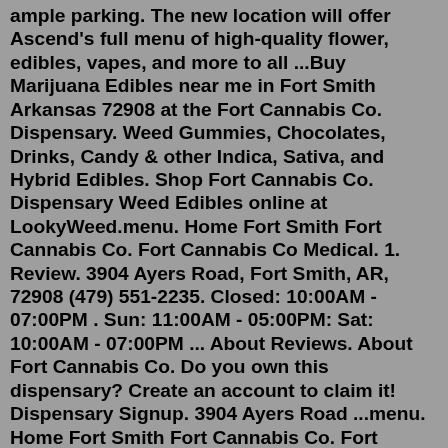ample parking. The new location will offer Ascend's full menu of high-quality flower, edibles, vapes, and more to all ...Buy Marijuana Edibles near me in Fort Smith Arkansas 72908 at the Fort Cannabis Co. Dispensary. Weed Gummies, Chocolates, Drinks, Candy & other Indica, Sativa, and Hybrid Edibles. Shop Fort Cannabis Co. Dispensary Weed Edibles online at LookyWeed.menu. Home Fort Smith Fort Cannabis Co. Fort Cannabis Co Medical. 1. Review. 3904 Ayers Road, Fort Smith, AR, 72908 (479) 551-2235. Closed: 10:00AM - 07:00PM . Sun: 11:00AM - 05:00PM: Sat: 10:00AM - 07:00PM ... About Reviews. About Fort Cannabis Co. Do you own this dispensary? Create an account to claim it! Dispensary Signup. 3904 Ayers Road ...menu. Home Fort Smith Fort Cannabis Co. Fort Cannabis Co Medical. 1. Review. 3904 Ayers Road, Fort Smith, AR, 72908 (479) 551-2235. Closed: 10:00AM - 07:00PM . Sun: 11:00AM - 05:00PM: Sat: 10:00AM - 07:00PM ... About Reviews. About Fort Cannabis Co. Do you own this dispensary? Create an account to claim it!